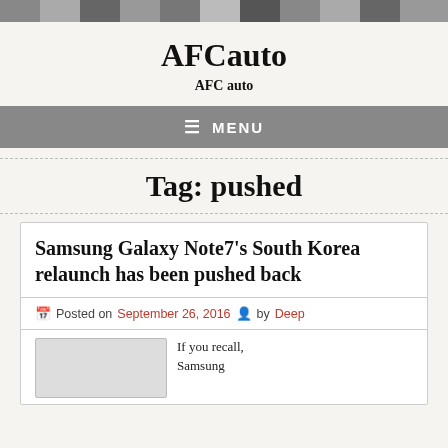[Figure (photo): Website header banner photo collage with dark/muted tones]
AFCauto
AFC auto
≡ MENU
Tag: pushed
Samsung Galaxy Note7's South Korea relaunch has been pushed back
Posted on September 26, 2016  by Deep
If you recall, Samsung